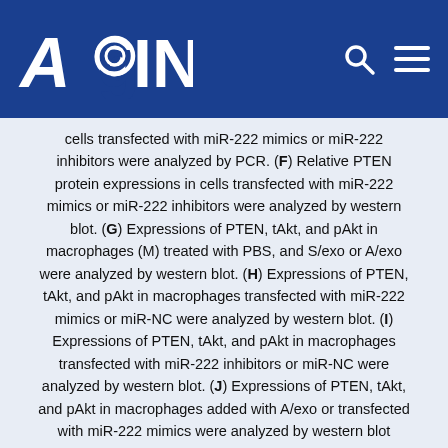AGING
cells transfected with miR-222 mimics or miR-222 inhibitors were analyzed by PCR. (F) Relative PTEN protein expressions in cells transfected with miR-222 mimics or miR-222 inhibitors were analyzed by western blot. (G) Expressions of PTEN, tAkt, and pAkt in macrophages (M) treated with PBS, and S/exo or A/exo were analyzed by western blot. (H) Expressions of PTEN, tAkt, and pAkt in macrophages transfected with miR-222 mimics or miR-NC were analyzed by western blot. (I) Expressions of PTEN, tAkt, and pAkt in macrophages transfected with miR-222 inhibitors or miR-NC were analyzed by western blot. (J) Expressions of PTEN, tAkt, and pAkt in macrophages added with A/exo or transfected with miR-222 mimics were analyzed by western blot following Akt inhibitors treatment. Data are shown as